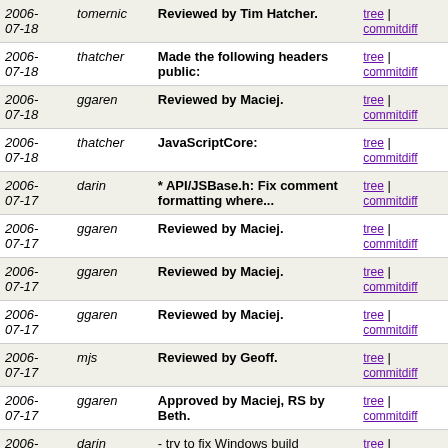| Date | Author | Message | Links |
| --- | --- | --- | --- |
| 2006-07-18 | tomernic | Reviewed by Tim Hatcher. | tree | commitdiff |
| 2006-07-18 | thatcher | Made the following headers public: | tree | commitdiff |
| 2006-07-18 | ggaren | Reviewed by Maciej. | tree | commitdiff |
| 2006-07-18 | thatcher | JavaScriptCore: | tree | commitdiff |
| 2006-07-17 | darin | * API/JSBase.h: Fix comment formatting where... | tree | commitdiff |
| 2006-07-17 | ggaren | Reviewed by Maciej. | tree | commitdiff |
| 2006-07-17 | ggaren | Reviewed by Maciej. | tree | commitdiff |
| 2006-07-17 | ggaren | Reviewed by Maciej. | tree | commitdiff |
| 2006-07-17 | mjs | Reviewed by Geoff. | tree | commitdiff |
| 2006-07-17 | ggaren | Approved by Maciej, RS by Beth. | tree | commitdiff |
| 2006-07-17 | darin | - try to fix Windows build | tree | commitdiff |
| 2006-07-17 | ggaren | Reviewed by Maciej. | tree | commitdiff |
| 2006-07-17 | ggaren | Reviewed by Maciej. | tree | commitdiff |
| 2006-07-?? | ggaren | Reviewed by Maciej. | tree | |